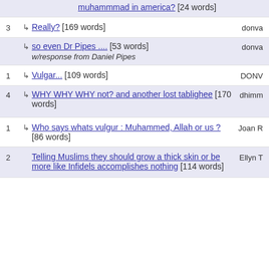muhammmad in america? [24 words]
3  Really? [169 words]  donva
so even Dr Pipes .... [53 words] w/response from Daniel Pipes  donva
1  Vulgar... [109 words]  DONV
4  WHY WHY WHY not? and another lost tablighee [170 words]  dhimm
1  Who says whats vulgur : Muhammed, Allah or us ? [86 words]  Joan R
2  Telling Muslims they should grow a thick skin or be more like Infidels accomplishes nothing [114 words]  Ellyn T